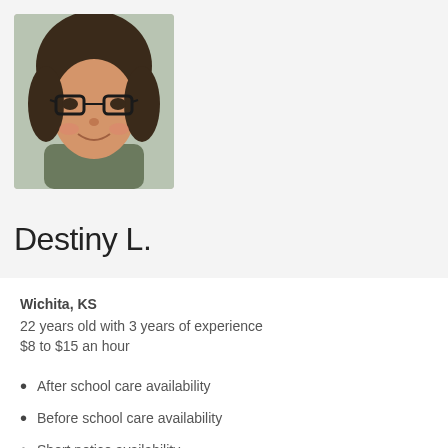[Figure (photo): Profile photo of Destiny L., a young woman with glasses and dark hair, wearing a dark green sweatshirt, seated in a car]
Destiny L.
Wichita, KS
22 years old with 3 years of experience
$8 to $15 an hour
After school care availability
Before school care availability
Short notice availability